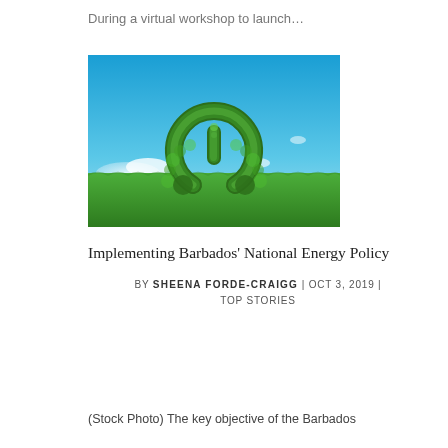During a virtual workshop to launch…
[Figure (photo): Stock photo of a green power button symbol made from leafy plants/hedge, set against a bright blue sky with clouds, above a green grass field. The symbol represents green/renewable energy.]
Implementing Barbados' National Energy Policy
BY SHEENA FORDE-CRAIGG | OCT 3, 2019 | TOP STORIES
(Stock Photo) The key objective of the Barbados